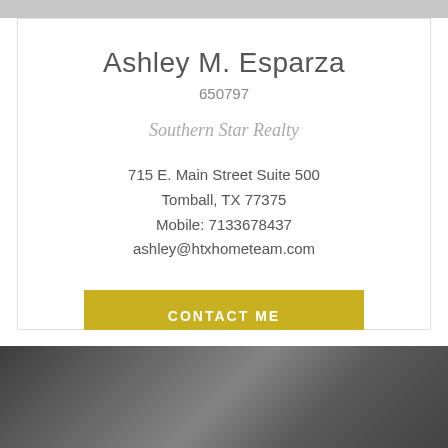Ashley M. Esparza
650797
Southern Star Realty
715 E. Main Street Suite 500
Tomball, TX 77375
Mobile: 7133678437
ashley@htxhometeam.com
CONTACT ME
[Figure (photo): Blurred dark background photo of a building or street scene at the bottom of the page]